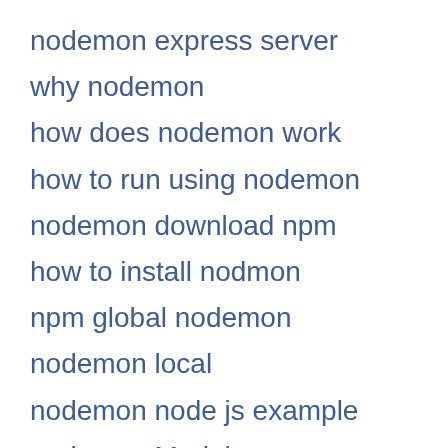nodemon express server
why nodemon
how does nodemon work
how to run using nodemon
nodemon download npm
how to install nodmon
npm global nodemon
nodemon local
nodemon node js example
nodemon Module
add nodemon to node js
add nodemon script
instalar nodemon en windows
How do you install Nodemon using Node js?